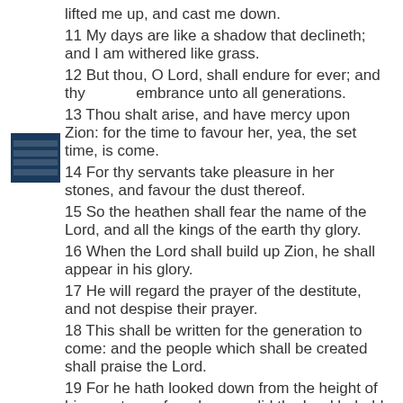lifted me up, and cast me down.
11 My days are like a shadow that declineth; and I am withered like grass.
12 But thou, O Lord, shall endure for ever; and thy remembrance unto all generations.
13 Thou shalt arise, and have mercy upon Zion: for the time to favour her, yea, the set time, is come.
14 For thy servants take pleasure in her stones, and favour the dust thereof.
15 So the heathen shall fear the name of the Lord, and all the kings of the earth thy glory.
16 When the Lord shall build up Zion, he shall appear in his glory.
17 He will regard the prayer of the destitute, and not despise their prayer.
18 This shall be written for the generation to come: and the people which shall be created shall praise the Lord.
19 For he hath looked down from the height of his sanctuary; from heaven did the Lord behold the earth;
20 To hear the groaning of the prisoner; to loose those that are appointed to death;
21 To declare the name of the Lord in Zion, and his praise in Jerusalem;